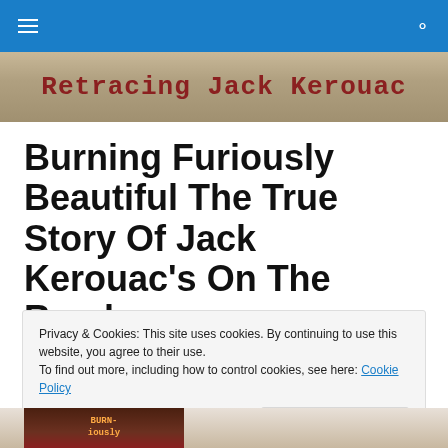≡  🔍
[Figure (photo): Website banner with wood texture background reading 'Retracing Jack Kerouac' in dark red typewriter font]
Burning Furiously Beautiful The True Story Of Jack Kerouac's On The Road
Privacy & Cookies: This site uses cookies. By continuing to use this website, you agree to their use. To find out more, including how to control cookies, see here: Cookie Policy
Close and accept
[Figure (photo): Partial view of book cover at bottom of page, dark background with red text]